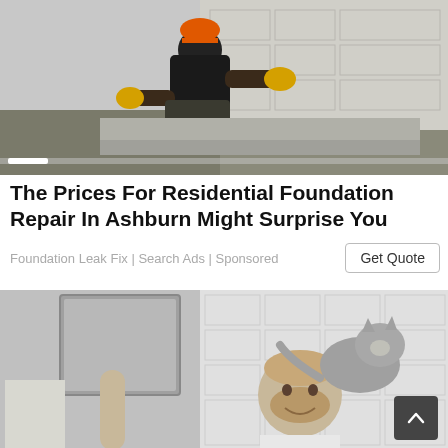[Figure (photo): Worker in orange hard hat and yellow gloves laying concrete blocks on a construction site foundation]
The Prices For Residential Foundation Repair In Ashburn Might Surprise You
Foundation Leak Fix | Search Ads | Sponsored
[Figure (photo): Black and white photo of a smiling man in a bathroom with a cat perched on his shoulder, white subway tile wall in background]